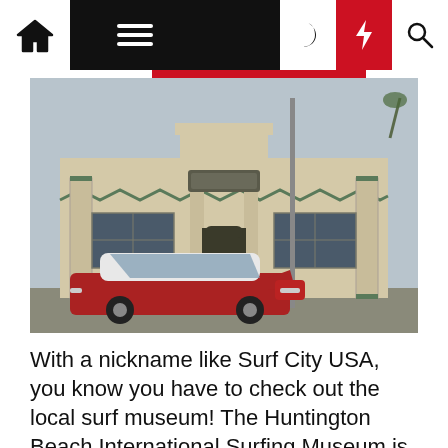Navigation bar with home, menu, moon, bolt, and search icons
[Figure (photo): Exterior of the Huntington Beach International Surfing Museum, an Art Deco building with cream/beige facade and green decorative trim, with a red and white classic 1950s car parked in front.]
With a nickname like Surf City USA, you know you have to check out the local surf museum! The Huntington Beach International Surfing Museum is dedicated to Duke Kahanamoku. He may not have invented surfing, but he did a lot to promote it.